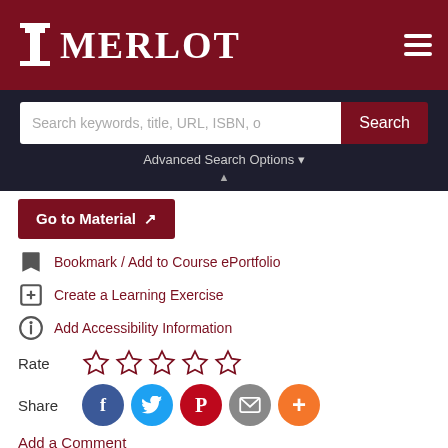[Figure (screenshot): MERLOT website header with logo and hamburger menu]
[Figure (screenshot): Search bar with 'Search keywords, title, URL, ISBN, o' placeholder text and dark navy background, Advanced Search Options link below]
Go to Material
Bookmark / Add to Course ePortfolio
Create a Learning Exercise
Add Accessibility Information
Rate
Share
Add a Comment